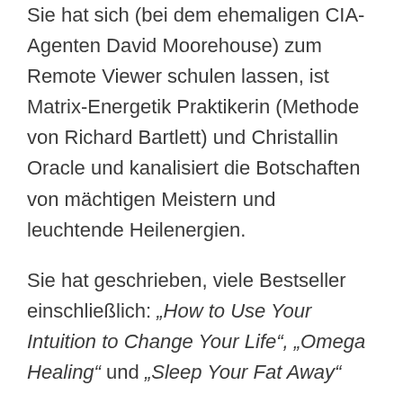Sie hat sich (bei dem ehemaligen CIA-Agenten David Moorehouse) zum Remote Viewer schulen lassen, ist Matrix-Energetik Praktikerin (Methode von Richard Bartlett) und Christallin Oracle und kanalisiert die Botschaften von mächtigen Meistern und leuchtende Heilenergien.
Sie hat geschrieben, viele Bestseller einschließlich: "How to Use Your Intuition to Change Your Life", "Omega Healing" und "Sleep Your Fat Away"
Sie ist auch Expertin für strategische Beratung und die